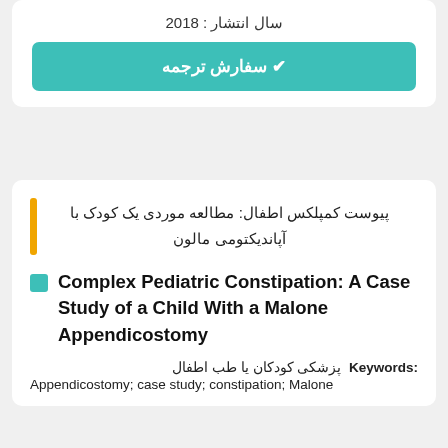سال انتشار : 2018
✔ سفارش ترجمه
پیوست کمپلکس اطفال: مطالعه موردی یک کودک با آپاندیکتومی مالون
Complex Pediatric Constipation: A Case Study of a Child With a Malone Appendicostomy
Keywords: پزشکی کودکان یا طب اطفال
Appendicostomy; case study; constipation; Malone